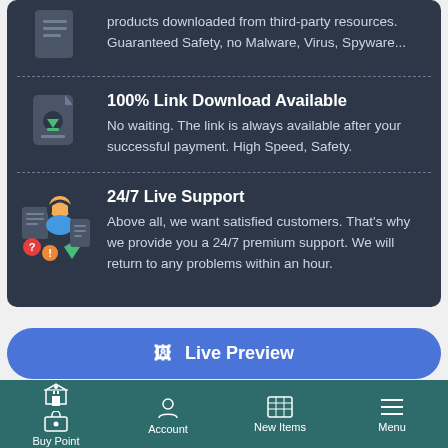products downloaded from third-party resources. Guaranteed Safety, no Malware, Virus, Spyware...
100% Link Download Available
No waiting. The link is always available after your successful payment. High Speed, Safety.
24/7 Live Support
Above all, we want satisfied customers. That's why we provide you a 24/7 premium support. We will return to any problems within an hour.
🖼 Live Preview
🔒 Login to Download
Buy Point | Account | New Items | Menu